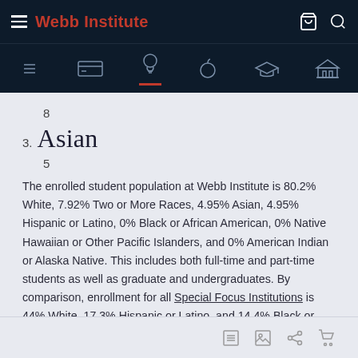Webb Institute
8
3. Asian
5
The enrolled student population at Webb Institute is 80.2% White, 7.92% Two or More Races, 4.95% Asian, 4.95% Hispanic or Latino, 0% Black or African American, 0% Native Hawaiian or Other Pacific Islanders, and 0% American Indian or Alaska Native. This includes both full-time and part-time students as well as graduate and undergraduates. By comparison, enrollment for all Special Focus Institutions is 44% White, 17.3% Hispanic or Latino, and 14.4% Black or African American.